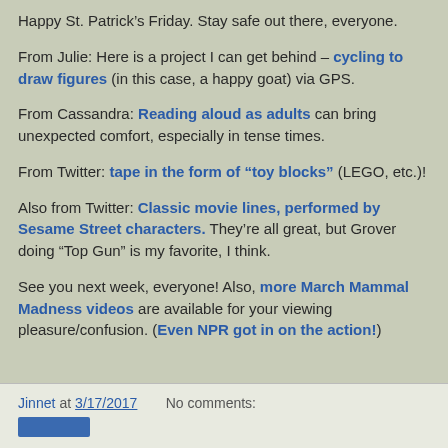Happy St. Patrick’s Friday. Stay safe out there, everyone.
From Julie: Here is a project I can get behind – cycling to draw figures (in this case, a happy goat) via GPS.
From Cassandra: Reading aloud as adults can bring unexpected comfort, especially in tense times.
From Twitter: tape in the form of “toy blocks” (LEGO, etc.)!
Also from Twitter: Classic movie lines, performed by Sesame Street characters. They’re all great, but Grover doing “Top Gun” is my favorite, I think.
See you next week, everyone! Also, more March Mammal Madness videos are available for your viewing pleasure/confusion. (Even NPR got in on the action!)
Jinnet at 3/17/2017   No comments: